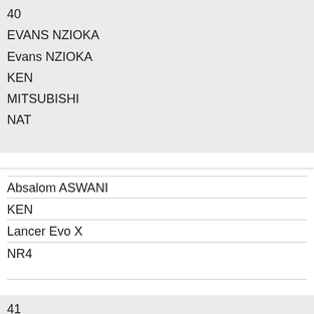40
EVANS NZIOKA
Evans NZIOKA
KEN
MITSUBISHI
NAT
Absalom ASWANI
KEN
Lancer Evo X
NR4
41
MINESH RATHOD
Minesh RATHOD